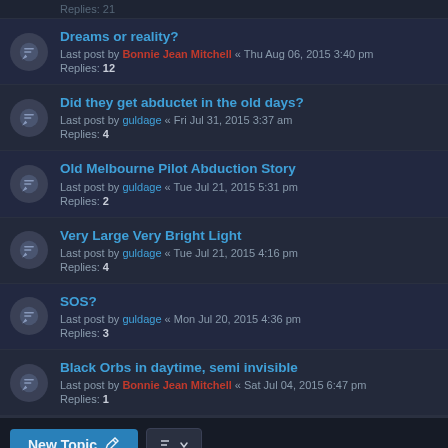Replies: 21 (partial, top of page)
Dreams or reality? — Last post by Bonnie Jean Mitchell « Thu Aug 06, 2015 3:40 pm — Replies: 12
Did they get abductet in the old days? — Last post by guldage « Fri Jul 31, 2015 3:37 am — Replies: 4
Old Melbourne Pilot Abduction Story — Last post by guldage « Tue Jul 21, 2015 5:31 pm — Replies: 2
Very Large Very Bright Light — Last post by guldage « Tue Jul 21, 2015 4:16 pm — Replies: 4
SOS? — Last post by guldage « Mon Jul 20, 2015 4:36 pm — Replies: 3
Black Orbs in daytime, semi invisible — Last post by Bonnie Jean Mitchell « Sat Jul 04, 2015 6:47 pm — Replies: 1
New Topic  |  Sort  |  58 topics  1  2  3  >